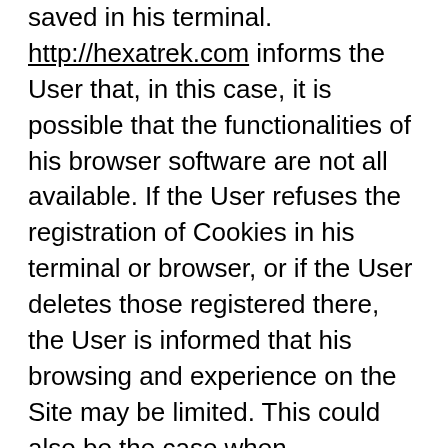saved in his terminal. http://hexatrek.com informs the User that, in this case, it is possible that the functionalities of his browser software are not all available. If the User refuses the registration of Cookies in his terminal or browser, or if the User deletes those registered there, the User is informed that his browsing and experience on the Site may be limited. This could also be the case when http://hexatrek.com or one of its service providers cannot recognize, for technical compatibility purposes, the type of browser used by the terminal, the language and display settings. or the country from which the terminal appears to be connected to the Internet.